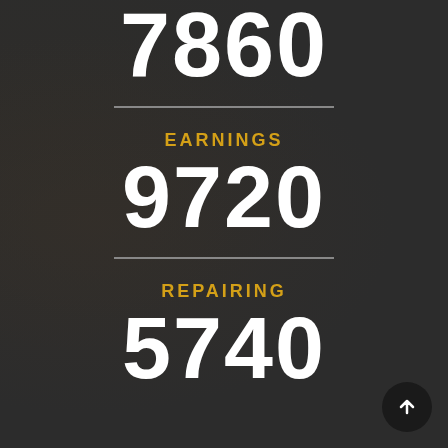7860
EARNINGS
9720
REPAIRING
5740